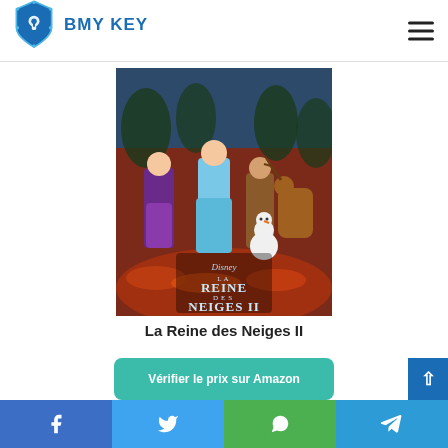BMY KEY
[Figure (photo): Movie poster for 'La Reine des Neiges II' (Frozen 2) showing Anna, Elsa, Kristoff, Sven and Olaf in an autumn forest setting with Disney branding]
La Reine des Neiges II
Vérifier le prix sur Amazon